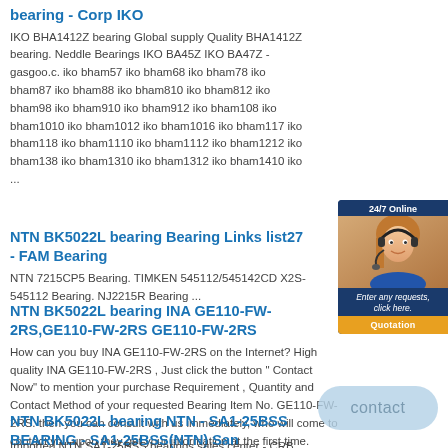bearing - Corp IKO
IKO BHA1412Z bearing Global supply Quality BHA1412Z bearing. Neddle Bearings IKO BA45Z IKO BA47Z - gasgoo.c. iko bham57 iko bham68 iko bham78 iko bham87 iko bham88 iko bham810 iko bham812 iko bham98 iko bham910 iko bham912 iko bham108 iko bham1010 iko bham1012 iko bham1016 iko bham117 iko bham118 iko bham1110 iko bham1112 iko bham1212 iko bham138 iko bham1310 iko bham1312 iko bham1410 iko ...
NTN BK5022L bearing Bearing Links list27 - FAM Bearing
NTN 7215CP5 Bearing. TIMKEN 545112/545142CD X2S-545112 Bearing. NJ2215R Bearing ...
NTN BK5022L bearing INA GE110-FW-2RS,GE110-FW-2RS GE110-FW-2RS
How can you buy INA GE110-FW-2RS on the Internet? High quality INA GE110-FW-2RS , Just click the button " Contact Now" to mention your purchase Requirement , Quantity and Contact Method of your requested Bearing Item No. GE110-FW-2RS. then you can consult with us immediately, who will come to contact you upon they get your information at the first time.
NTN BK5022L bearing NTN - SA1-25BSS BEARING - SA1-25BSS(NTN) San Marino | CRB
Imported NTN SA1-25BSS bearings sales center - CRB Bearing Co. Ltd. stock